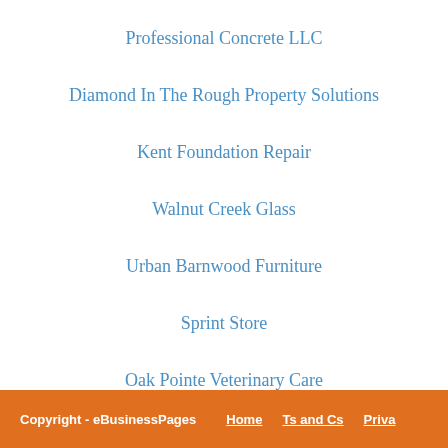Professional Concrete LLC
Diamond In The Rough Property Solutions
Kent Foundation Repair
Walnut Creek Glass
Urban Barnwood Furniture
Sprint Store
Oak Pointe Veterinary Care
Fine Arts Skin and Laser
Wengerd Ministries
Copyright - eBusinessPages   Home   Ts and Cs   Priva...